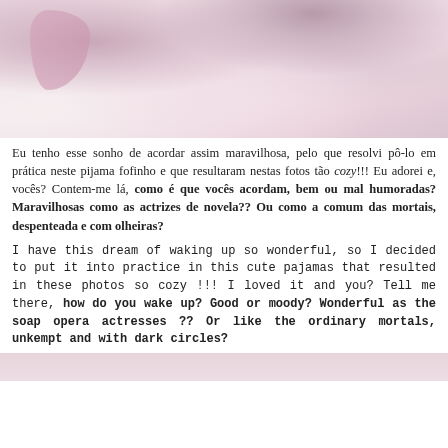[Figure (photo): Close-up photo of a person lying on soft bedding wearing a pale pink soft pajama/robe, with a purple/lavender fabric visible, on a light cream fuzzy surface. Cozy bedroom scene, soft pastel pink tones.]
Eu tenho esse sonho de acordar assim maravilhosa, pelo que resolvi pô-lo em prática neste pijama fofinho e que resultaram nestas fotos tão cozy!!! Eu adorei e, vocês? Contem-me lá, como é que vocês acordam, bem ou mal humoradas? Maravilhosas como as actrizes de novela?? Ou como a comum das mortais, despenteada e com olheiras?
I have this dream of waking up so wonderful, so I decided to put it into practice in this cute pajamas that resulted in these photos so cozy !!! I loved it and you? Tell me there, how do you wake up? Good or moody? Wonderful as the soap opera actresses ?? Or like the ordinary mortals, unkempt and with dark circles?
[Figure (photo): Bottom portion of another photo with pale pink/blush tones, partially visible at the bottom of the page.]